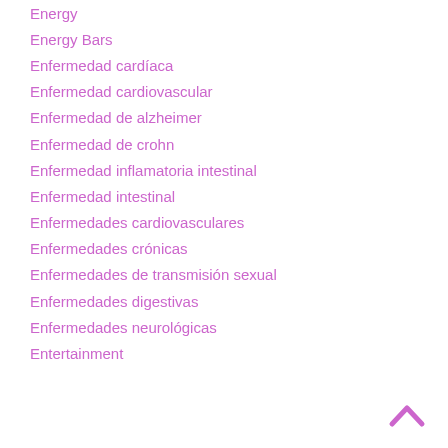Energy
Energy Bars
Enfermedad cardíaca
Enfermedad cardiovascular
Enfermedad de alzheimer
Enfermedad de crohn
Enfermedad inflamatoria intestinal
Enfermedad intestinal
Enfermedades cardiovasculares
Enfermedades crónicas
Enfermedades de transmisión sexual
Enfermedades digestivas
Enfermedades neurológicas
Entertainment